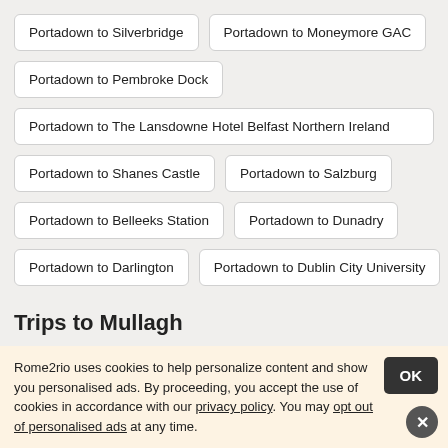Portadown to Silverbridge
Portadown to Moneymore GAC
Portadown to Pembroke Dock
Portadown to The Lansdowne Hotel Belfast Northern Ireland
Portadown to Shanes Castle
Portadown to Salzburg
Portadown to Belleeks Station
Portadown to Dunadry
Portadown to Darlington
Portadown to Dublin City University
Trips to Mullagh
Rome2rio uses cookies to help personalize content and show you personalised ads. By proceeding, you accept the use of cookies in accordance with our privacy policy. You may opt out of personalised ads at any time.
Knock Airport NOC to Mullagh